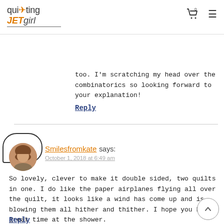quilting JETgirl
too. I'm scratching my head over the combinatorics so looking forward to your explanation!
Reply
Smilesfromkate says:
October 1, 2018 at 6:49 am
So lovely, clever to make it double sided, two quilts in one. I do like the paper airplanes flying all over the quilt, it looks like a wind has come up and is blowing them all hither and thither. I hope you had a great time at the shower.
Reply